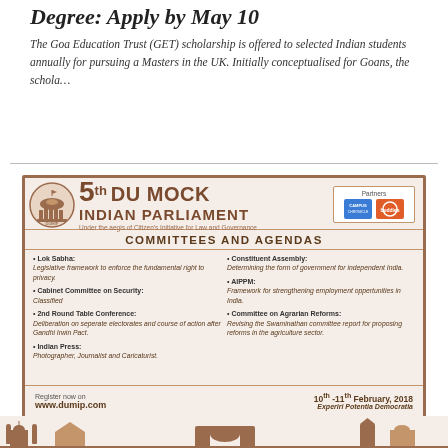Degree: Apply by May 10
The Goa Education Trust (GET) scholarship is offered to selected Indian students annually for pursuing a Masters in the UK. Initially conceptualised for Goans, the schola…
[Figure (infographic): 5th DU Mock Indian Parliament advertisement — Committees and Agendas: Lok Sabha (Legislative framework to enforce the fundamental right to privacy), Cabinet Committee on Security (Classified), 2nd Round Table Conference (Deliberation on seperate electorates and course of action after Gandhi Irwin Pact), Indian Press (Photographer, Journalist and Caricaturist), Constituent Assembly (Determining the form of government for independent India), AIPPM (Framework for strengthening employment oppertunities in India), Committee on Agrarian Reforms (Revising the Swaminathan committee report for proposing reforms in the agriculture sector). Register now on www.dumip.com, 10th-11th February 2018, Experiri Potentia Democratia]
[Figure (illustration): Indian skyline silhouette in brown tones at bottom of page]